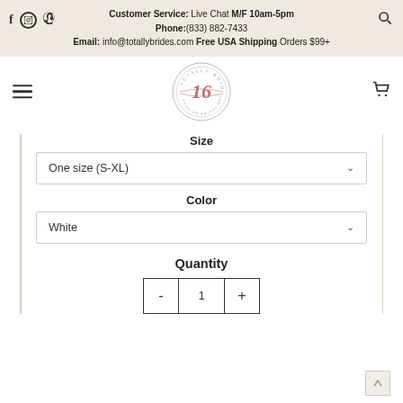Customer Service: Live Chat M/F 10am-5pm Phone:(833) 882-7433 Email: info@totallybrides.com Free USA Shipping Orders $99+
[Figure (logo): Totally Brides circular logo with script '16' in center and decorative text around the circle]
Size
One size (S-XL)
Color
White
Quantity
- 1 +